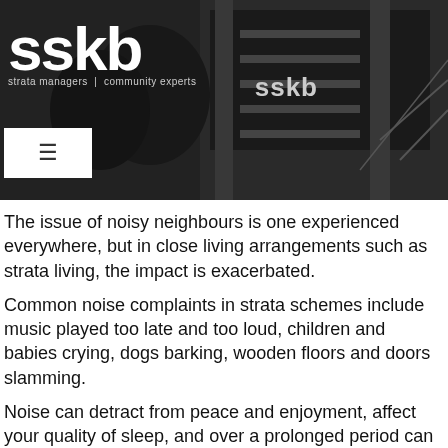[Figure (photo): SSKB strata managers community experts header image showing a dark-toned building exterior with the SSKB logo in white at top left and a hamburger menu button below it]
The issue of noisy neighbours is one experienced everywhere, but in close living arrangements such as strata living, the impact is exacerbated.
Common noise complaints in strata schemes include music played too late and too loud, children and babies crying, dogs barking, wooden floors and doors slamming.
Noise can detract from peace and enjoyment, affect your quality of sleep, and over a prolonged period can contribute to the deterioration of mental health and wellbeing.